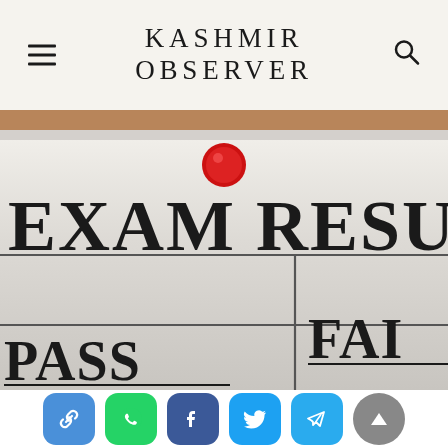KASHMIR OBSERVER
[Figure (photo): Close-up photo of an exam result sheet pinned with a red thumbtack/pin, showing large bold text reading 'EXAM RESULT' with grid lines and the words 'PASS' and 'FAI[L]' partially visible in the lower sections. Background is light gray/white document paper.]
[Figure (infographic): Social sharing bar with icons: link/chain icon (blue), WhatsApp (green), Facebook (dark blue), Twitter (light blue), Telegram (cyan), and a scroll-to-top button (gray circle with up arrow).]